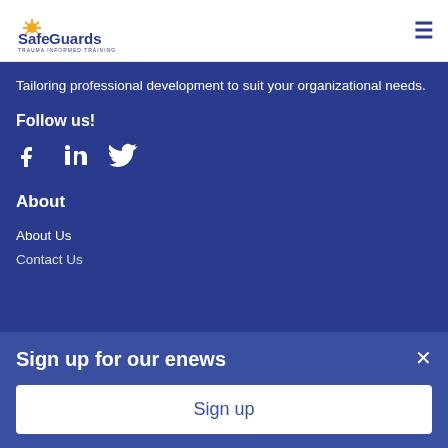[Figure (logo): SafeGuards Trauma Informed Training logo with sun graphic]
Tailoring professional development to suit your organizational needs.
Follow us!
[Figure (illustration): Social media icons: Facebook, LinkedIn, Twitter]
About
About Us
Contact Us
Sign up for our enews
Sign up